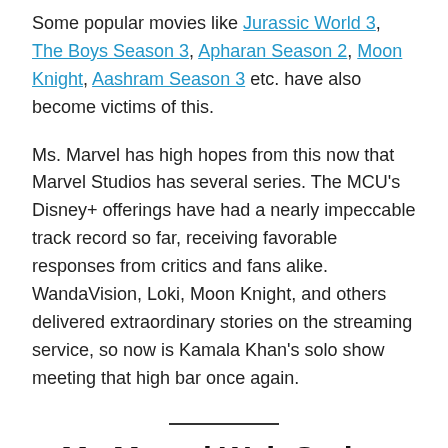Some popular movies like Jurassic World 3, The Boys Season 3, Apharan Season 2, Moon Knight, Aashram Season 3 etc. have also become victims of this.
Ms. Marvel has high hopes from this now that Marvel Studios has several series. The MCU's Disney+ offerings have had a nearly impeccable track record so far, receiving favorable responses from critics and fans alike. WandaVision, Loki, Moon Knight, and others delivered extraordinary stories on the streaming service, so now is Kamala Khan's solo show meeting that high bar once again.
Ms Marvel Web Series